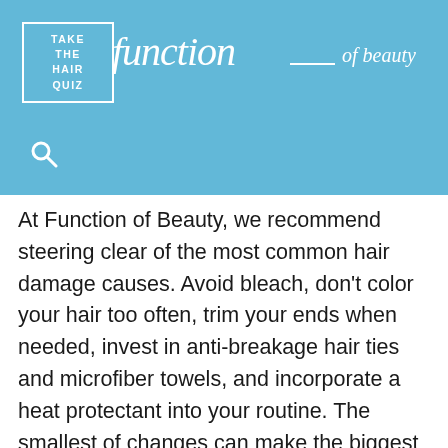TAKE THE HAIR QUIZ | function of beauty
At Function of Beauty, we recommend steering clear of the most common hair damage causes. Avoid bleach, don't color your hair too often, trim your ends when needed, invest in anti-breakage hair ties and microfiber towels, and incorporate a heat protectant into your routine. The smallest of changes can make the biggest difference.